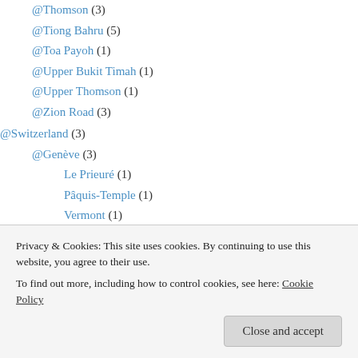@Thomson (3)
@Tiong Bahru (5)
@Toa Payoh (1)
@Upper Bukit Timah (1)
@Upper Thomson (1)
@Zion Road (3)
@Switzerland (3)
@Genève (3)
Le Prieuré (1)
Pâquis-Temple (1)
Vermont (1)
@Taiwan (RoC) (8)
@Taipei (8)
@Da'an (5)
@Bangkok (1)
Privacy & Cookies: This site uses cookies. By continuing to use this website, you agree to their use. To find out more, including how to control cookies, see here: Cookie Policy